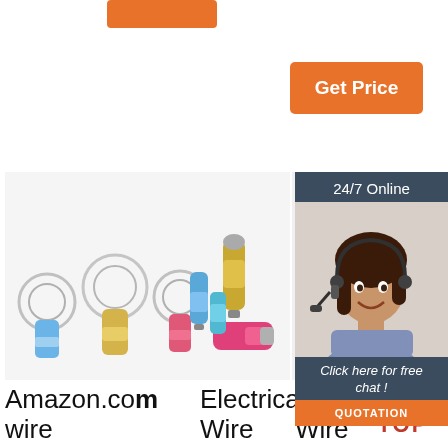[Figure (other): Orange button top left (partial, cropped)]
[Figure (other): Orange 'Get Price' button]
[Figure (photo): Product photos: electrical wire crimps / terminals in blue, yellow, pink colors arranged in two groups]
[Figure (photo): Partial product photo: yellow/green electrical wire terminals (right, partially obscured by overlay)]
[Figure (photo): 24/7 Online chat overlay with woman wearing headset, 'Click here for free chat!' and QUOTATION button]
Amazon.co Electrical Wire crimps
Electrical Wire Terminals
Elec Wire Teri
Firecore Wire Stripper Tool Kit with 230 PCS Wire Electrical Connectors, Self-Adjusting Cable
Terminals & Connectors. Maney Wire & Cable carries a wide variety of copper lugs and
Choose from our selection of electrical wire terminals, including quick-disconnect
[Figure (logo): TOP icon with red dots and red TOP text]